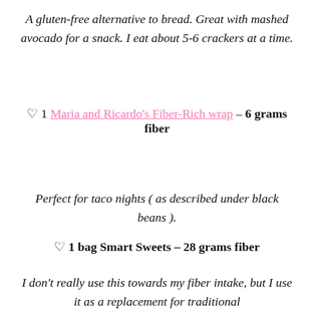A gluten-free alternative to bread. Great with mashed avocado for a snack. I eat about 5-6 crackers at a time.
♡ 1 Maria and Ricardo's Fiber-Rich wrap – 6 grams fiber
Perfect for taco nights ( as described under black beans ).
♡ 1 bag Smart Sweets – 28 grams fiber
I don't really use this towards my fiber intake, but I use it as a replacement for traditional